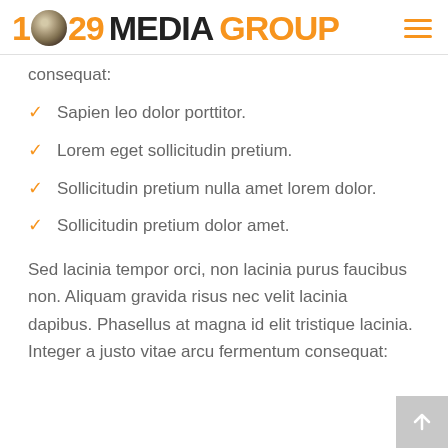1[fingerprint]29 MEDIA GROUP
consequat:
Sapien leo dolor porttitor.
Lorem eget sollicitudin pretium.
Sollicitudin pretium nulla amet lorem dolor.
Sollicitudin pretium dolor amet.
Sed lacinia tempor orci, non lacinia purus faucibus non. Aliquam gravida risus nec velit lacinia dapibus. Phasellus at magna id elit tristique lacinia. Integer a justo vitae arcu fermentum consequat: